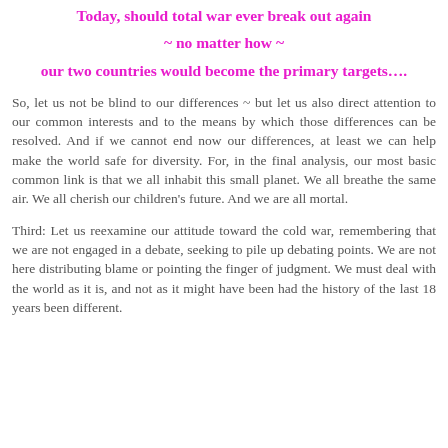Today, should total war ever break out again
~ no matter how ~
our two countries would become the primary targets….
So, let us not be blind to our differences ~ but let us also direct attention to our common interests and to the means by which those differences can be resolved. And if we cannot end now our differences, at least we can help make the world safe for diversity. For, in the final analysis, our most basic common link is that we all inhabit this small planet. We all breathe the same air. We all cherish our children's future. And we are all mortal.
Third: Let us reexamine our attitude toward the cold war, remembering that we are not engaged in a debate, seeking to pile up debating points. We are not here distributing blame or pointing the finger of judgment. We must deal with the world as it is, and not as it might have been had the history of the last 18 years been different.